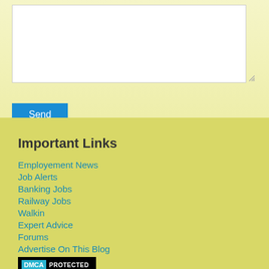[Figure (screenshot): A white textarea input box with a resize handle in the bottom-right corner]
Send
Important Links
Employement News
Job Alerts
Banking Jobs
Railway Jobs
Walkin
Expert Advice
Forums
Advertise On This Blog
[Figure (logo): DMCA PROTECTED badge — black background with blue DMCA label and white PROTECTED text]